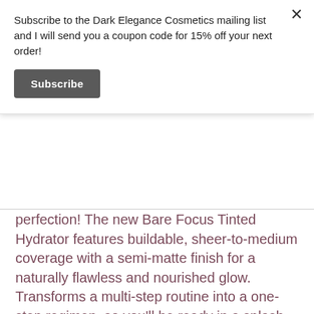Subscribe to the Dark Elegance Cosmetics mailing list and I will send you a coupon code for 15% off your next order!
Subscribe
perfection! The new Bare Focus Tinted Hydrator features buildable, sheer-to-medium coverage with a semi-matte finish for a naturally flawless and nourished glow. Transforms a multi-step routine into a one-step regimen, so you'll be ready in a splash with this lightweight, multipurpose and super convenient formula. Simply tap, blend and build to your preferred coverage for hydrated, radiant, instant perfection.
Hydrating with Hyaluronic Acid and vegan
Coco...